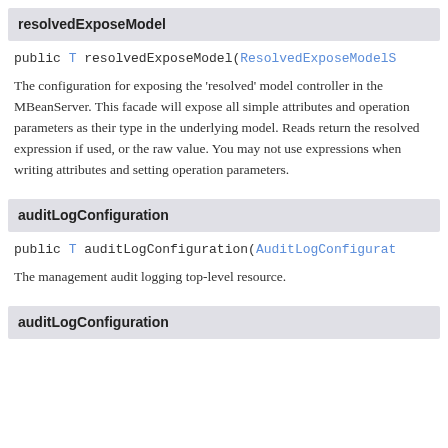resolvedExposeModel
public T resolvedExposeModel(ResolvedExposeModelS
The configuration for exposing the 'resolved' model controller in the MBeanServer. This facade will expose all simple attributes and operation parameters as their type in the underlying model. Reads return the resolved expression if used, or the raw value. You may not use expressions when writing attributes and setting operation parameters.
auditLogConfiguration
public T auditLogConfiguration(AuditLogConfigurat
The management audit logging top-level resource.
auditLogConfiguration